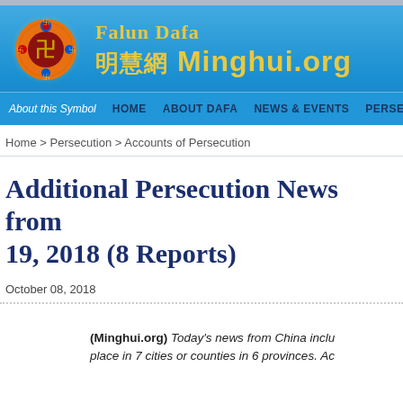[Figure (logo): Falun Dafa Minghui.org website header with logo circle (yin-yang with swastika symbol in orange/red/black) and site name in yellow on blue background]
About this Symbol  HOME  ABOUT DAFA  NEWS & EVENTS  PERSECUTION
Home > Persecution > Accounts of Persecution
Additional Persecution News from 19, 2018 (8 Reports)
October 08, 2018
(Minghui.org) Today's news from China inclu place in 7 cities or counties in 6 provinces. Ac